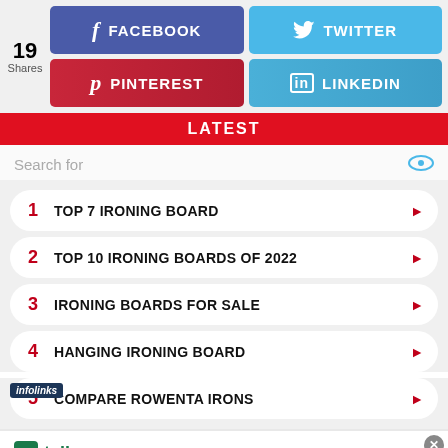19 Shares
[Figure (screenshot): Social share buttons: Facebook (blue), Twitter (light blue), Pinterest (red), LinkedIn (blue-green)]
LATEST
Search for
1 TOP 7 IRONING BOARD
2 TOP 10 IRONING BOARDS OF 2022
3 IRONING BOARDS FOR SALE
4 HANGING IRONING BOARD
5 COMPARE ROWENTA IRONS
[Figure (screenshot): Advertisement banner: tally - Fast credit card payoff - Download Now button]